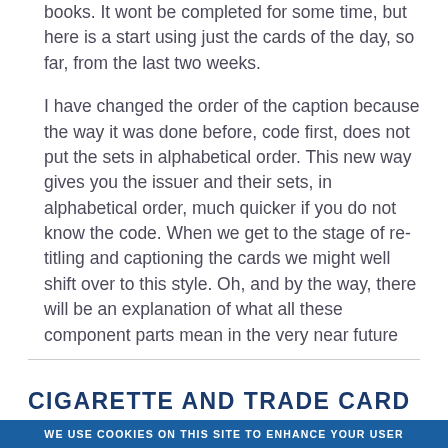books. It wont be completed for some time, but here is a start using just the cards of the day, so far, from the last two weeks.
I have changed the order of the caption because the way it was done before, code first, does not put the sets in alphabetical order. This new way gives you the issuer and their sets, in alphabetical order, much quicker if you do not know the code. When we get to the stage of re-titling and captioning the cards we might well shift over to this style. Oh, and by the way, there will be an explanation of what all these component parts mean in the very near future
CIGARETTE AND TRADE CARD
WE USE COOKIES ON THIS SITE TO ENHANCE YOUR USER